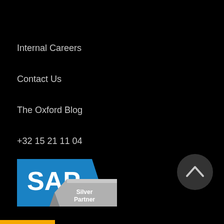Internal Careers
Contact Us
The Oxford Blog
+32 15 21 11 04
[Figure (logo): SAP Silver Partner logo with blue SAP badge and grey ribbon]
[Figure (other): Dark circular back-to-top button with upward chevron arrow]